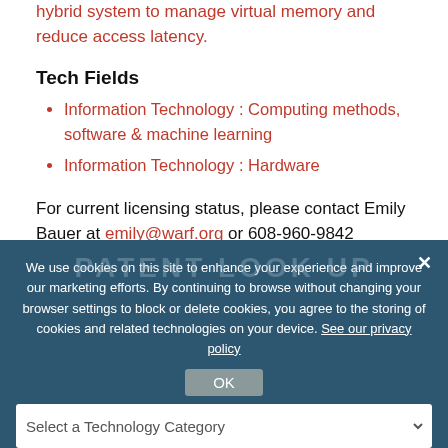hybrid system to manage virtual memory and reduce access latency.
Tech Fields
Information Technology : Computing methods, software & machine learning
Information Technology : Hardware
For current licensing status, please contact Emily Bauer at emily@warf.org or 608-960-9842
We use cookies on this site to enhance your experience and improve our marketing efforts. By continuing to browse without changing your browser settings to block or delete cookies, you agree to the storing of cookies and related technologies on your device. See our privacy policy